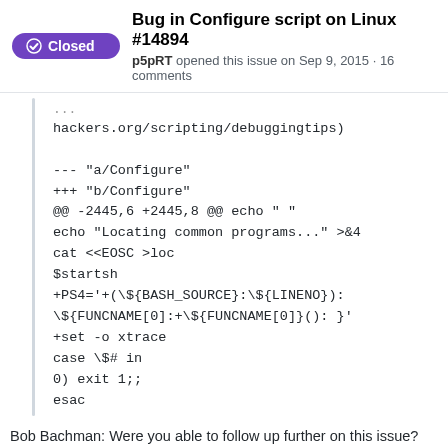Bug in Configure script on Linux #14894
p5pRT opened this issue on Sep 9, 2015 · 16 comments
hackers.org/scripting/debuggingtips)

--- "a/Configure"
+++ "b/Configure"
@@ -2445,6 +2445,8 @@ echo " "
echo "Locating common programs..." >&4
cat <<EOSC >loc
$startsh
+PS4='+(\${BASH_SOURCE}:\${LINENO}):\${FUNCNAME[0]:+\${FUNCNAME[0]}(): }'
+set -o xtrace
case \$# in
0) exit 1;;
esac
Bob Bachman: Were you able to follow up further on this issue?
No response from original poster; no update in more than two